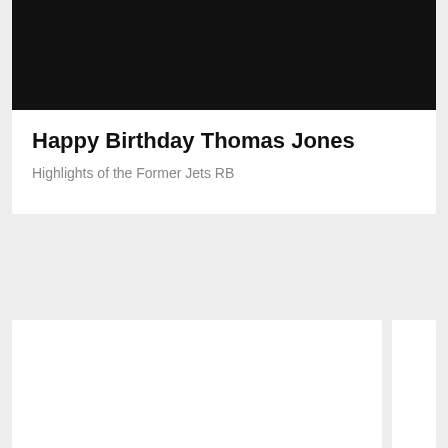[Figure (photo): Black image area at the top of the main card]
Happy Birthday Thomas Jones
Highlights of the Former Jets RB
[Figure (photo): White card in bottom left]
[Figure (photo): White card in bottom right]